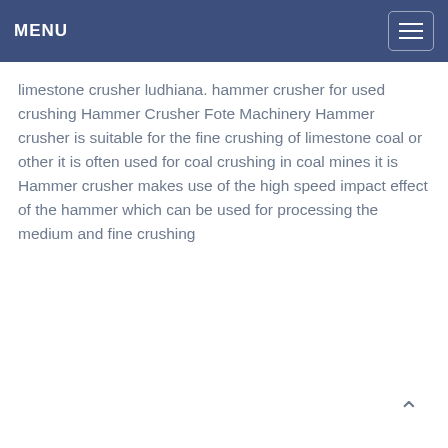MENU
limestone crusher ludhiana. hammer crusher for used crushing Hammer Crusher Fote Machinery Hammer crusher is suitable for the fine crushing of limestone coal or other it is often used for coal crushing in coal mines it is Hammer crusher makes use of the high speed impact effect of the hammer which can be used for processing the medium and fine crushing